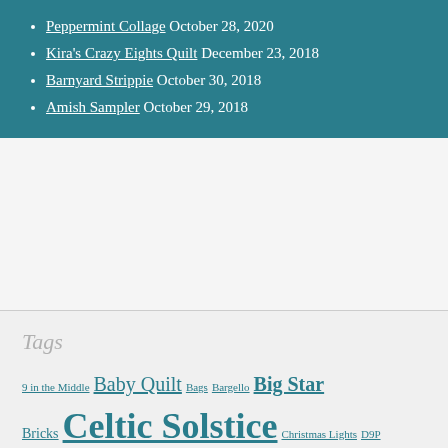Peppermint Collage October 28, 2020
Kira's Crazy Eights Quilt December 23, 2018
Barnyard Strippie October 30, 2018
Amish Sampler October 29, 2018
Tags
9 in the Middle Baby Quilt Bags Bargello Big Star Bricks Celtic Solstice Christmas Lights D9P Diamond EPP Double Delight Easy Street Finished Getting it Done Getting It Done; Jared Takes a Wife; Lazy Sunday; Hand Quilting